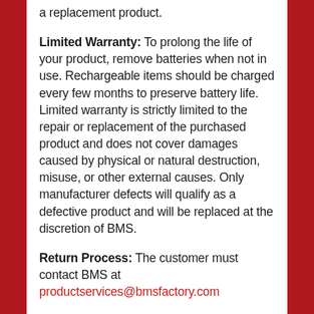a replacement product.
Limited Warranty: To prolong the life of your product, remove batteries when not in use. Rechargeable items should be charged every few months to preserve battery life. Limited warranty is strictly limited to the repair or replacement of the purchased product and does not cover damages caused by physical or natural destruction, misuse, or other external causes. Only manufacturer defects will qualify as a defective product and will be replaced at the discretion of BMS.
Return Process: The customer must contact BMS at productservices@bmsfactory.com
BMS warranty information and procedure